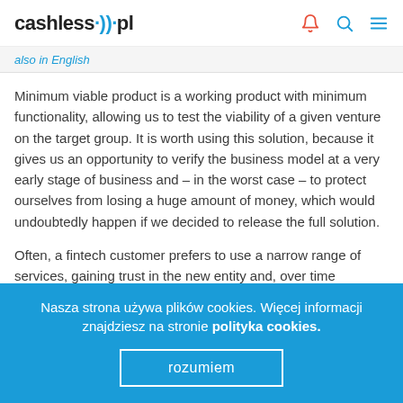cashless.pl
also in English
Minimum viable product is a working product with minimum functionality, allowing us to test the viability of a given venture on the target group. It is worth using this solution, because it gives us an opportunity to verify the business model at a very early stage of business and – in the worst case – to protect ourselves from losing a huge amount of money, which would undoubtedly happen if we decided to release the full solution.
Often, a fintech customer prefers to use a narrow range of services, gaining trust in the new entity and, over time
Nasza strona używa plików cookies. Więcej informacji znajdziesz na stronie polityka cookies.
rozumiem